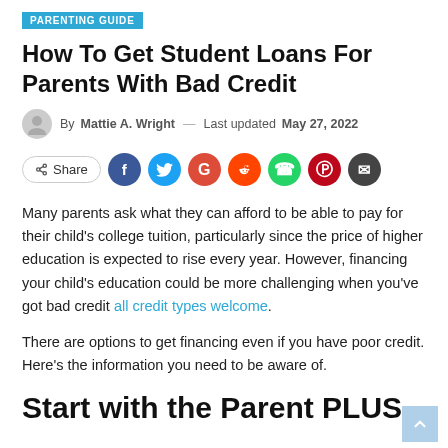PARENTING GUIDE
How To Get Student Loans For Parents With Bad Credit
By Mattie A. Wright — Last updated May 27, 2022
[Figure (infographic): Social share buttons row: Share button, Facebook, Twitter, Google+, Reddit, WhatsApp, Pinterest, Email circles]
Many parents ask what they can afford to be able to pay for their child's college tuition, particularly since the price of higher education is expected to rise every year. However, financing your child's education could be more challenging when you've got bad credit all credit types welcome.
There are options to get financing even if you have poor credit. Here's the information you need to be aware of.
Start with the Parent PLUS